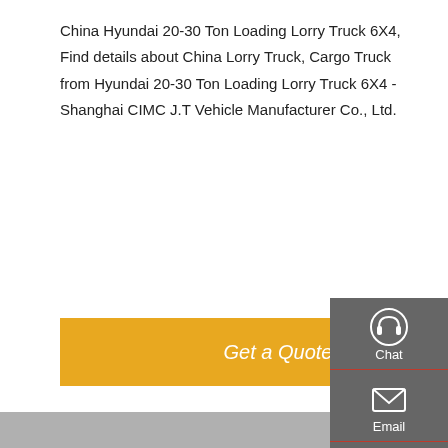China Hyundai 20-30 Ton Loading Lorry Truck 6X4, Find details about China Lorry Truck, Cargo Truck from Hyundai 20-30 Ton Loading Lorry Truck 6X4 - Shanghai CIMC J.T Vehicle Manufacturer Co., Ltd.
[Figure (other): Orange/yellow 'Get a Quote' button]
[Figure (photo): Close-up photo of red and white Hyundai loading lorry trucks 6X4 parked side by side, showing the side panels, wheels, and chassis]
[Figure (infographic): Dark grey sidebar with Chat, Email, Contact, and Top navigation icons in white on right side of page]